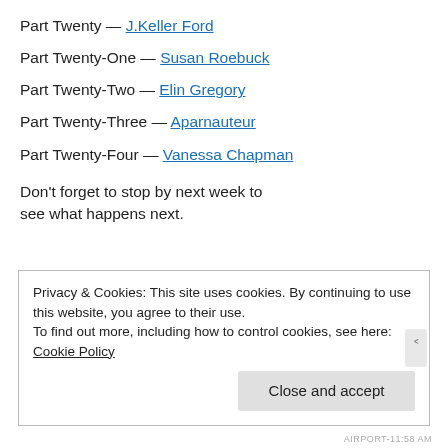Part Twenty — J.Keller Ford
Part Twenty-One — Susan Roebuck
Part Twenty-Two — Elin Gregory
Part Twenty-Three — Aparnauteur
Part Twenty-Four — Vanessa Chapman
Don't forget to stop by next week to see what happens next.
Privacy & Cookies: This site uses cookies. By continuing to use this website, you agree to their use.
To find out more, including how to control cookies, see here: Cookie Policy
AIRPORT-11:58 AM